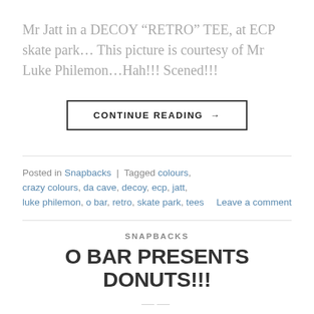Mr Jatt in a DECOY “RETRO” TEE, at ECP skate park… This picture is courtesy of Mr Luke Philemon…Hah!!! Scened!!!
CONTINUE READING →
Posted in Snapbacks | Tagged colours, crazy colours, da cave, decoy, ecp, jatt, luke philemon, o bar, retro, skate park, tees   Leave a comment
SNAPBACKS
O BAR PRESENTS DONUTS!!!
POSTED ON JULY 8, 2009 BY DACAVE STAFF